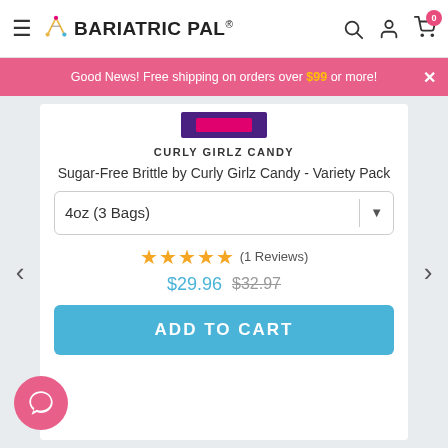BariatricPal - navigation bar with hamburger menu, logo, search, account, and cart icons
Good News! Free shipping on orders over $99 or more!
[Figure (screenshot): Small product image thumbnail showing Curly Girlz Candy packaging]
CURLY GIRLZ CANDY
Sugar-Free Brittle by Curly Girlz Candy - Variety Pack
4oz (3 Bags) - dropdown selector
★★★★★ (1 Reviews)
$29.96 $32.97
ADD TO CART